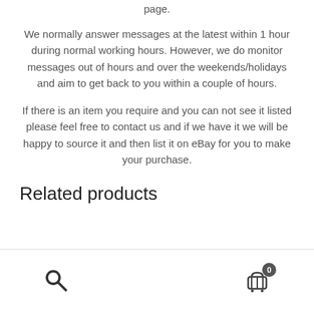page.
We normally answer messages at the latest within 1 hour during normal working hours. However, we do monitor messages out of hours and over the weekends/holidays and aim to get back to you within a couple of hours.
If there is an item you require and you can not see it listed please feel free to contact us and if we have it we will be happy to source it and then list it on eBay for you to make your purchase.
Related products
search icon, cart icon with badge 0